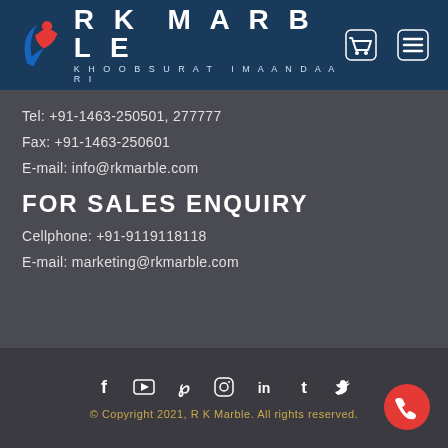[Figure (logo): RK Marble logo with red and blue figure icon and text 'RK MARBLE KHOOBSURAT IMAANDAARI' on dark blue header bar with cart and menu icons]
Tel: +91-1463-250501, 277777
Fax: +91-1463-250601
E-mail: info@rkmarble.com
FOR SALES ENQUIRY
Cellphone: +91-9119118118
E-mail: marketing@rkmarble.com
[Figure (infographic): Social media icons: Facebook, YouTube, Pinterest, Instagram, LinkedIn, Tumblr, Twitter]
© Copyright 2021, R K Marble. All rights reserved.